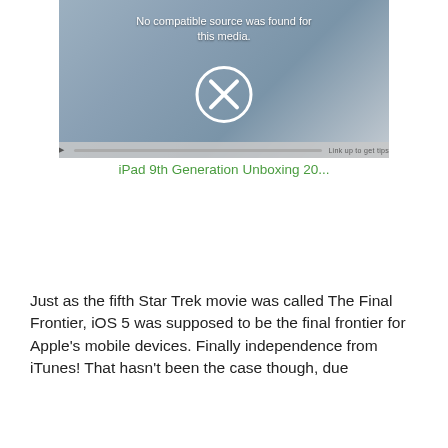[Figure (screenshot): Video player showing 'No compatible source was found for this media.' message with a large X symbol over an image of an iPad with keyboard. Bottom bar with playback controls visible.]
iPad 9th Generation Unboxing 20...
Just as the fifth Star Trek movie was called The Final Frontier, iOS 5 was supposed to be the final frontier for Apple's mobile devices. Finally independence from iTunes! That hasn't been the case though, due